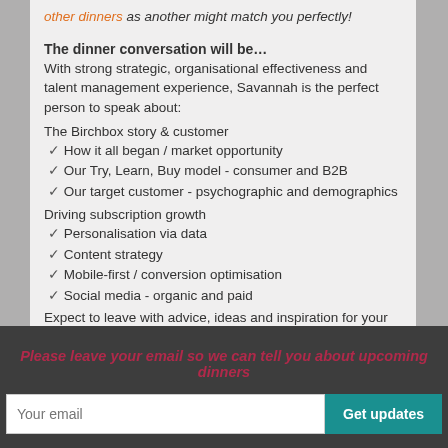other dinners as another might match you perfectly!
The dinner conversation will be…
With strong strategic, organisational effectiveness and talent management experience, Savannah is the perfect person to speak about:
The Birchbox story & customer
✓ How it all began / market opportunity
✓ Our Try, Learn, Buy model - consumer and B2B
✓ Our target customer - psychographic and demographics
Driving subscription growth
✓ Personalisation via data
✓ Content strategy
✓ Mobile-first / conversion optimisation
✓ Social media - organic and paid
Expect to leave with advice, ideas and inspiration for your own business from Savannah, as well as having
Please leave your email so we can tell you about upcoming dinners
Your email  Get updates